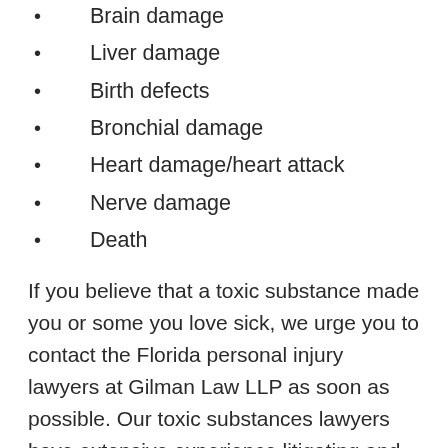Brain damage
Liver damage
Birth defects
Bronchial damage
Heart damage/heart attack
Nerve damage
Death
If you believe that a toxic substance made you or some you love sick, we urge you to contact the Florida personal injury lawyers at Gilman Law LLP as soon as possible. Our toxic substances lawyers have extensive experience litigating and resolving claims in Florida and throughout the U.S. involving these types of injuries.  They'll work with experts in many fields to identify the manner of your exposure and identify responsible parties. Our attorneys will also